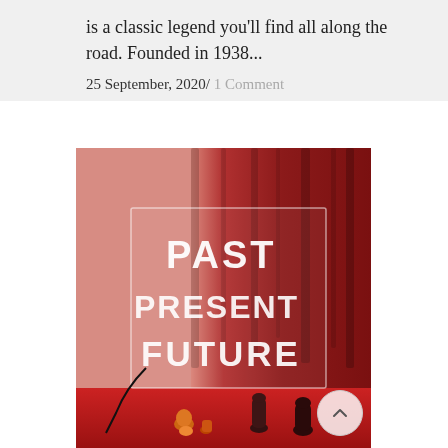is a classic legend you'll find all along the road. Founded in 1938...
25 September, 2020 / 1 Comment
[Figure (illustration): Painting with red curtain backdrop showing a neon-style sign reading PAST PRESENT FUTURE in white letters on a transparent glass panel, with small figurines on a red surface below]